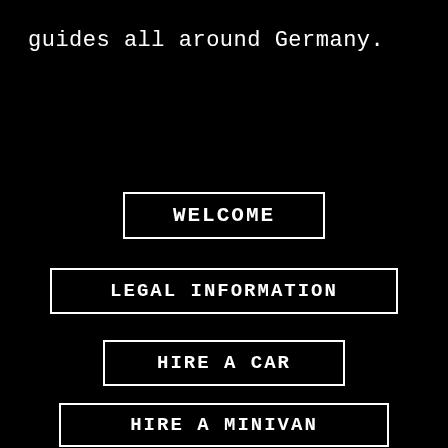guides all around Germany.
WELCOME
LEGAL INFORMATION
HIRE A CAR
HIRE A MINIVAN
BUS BOOKING
POINT-TO-POINT TRANSFERS